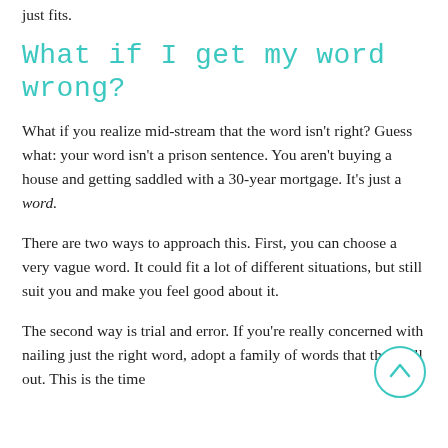just fits.
What if I get my word wrong?
What if you realize mid-stream that the word isn't right? Guess what: your word isn't a prison sentence. You aren't buying a house and getting saddled with a 30-year mortgage. It's just a word.
There are two ways to approach this. First, you can choose a very vague word. It could fit a lot of different situations, but still suit you and make you feel good about it.
The second way is trial and error. If you're really concerned with nailing just the right word, adopt a family of words that they call out. This is the time